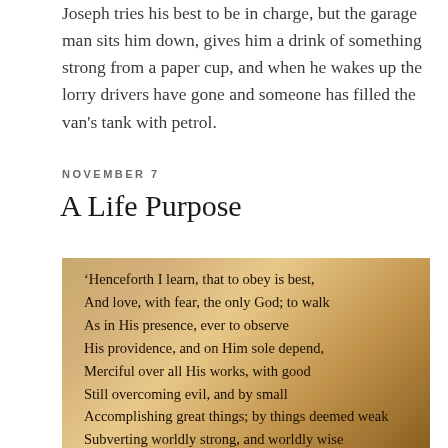Joseph tries his best to be in charge, but the garage man sits him down, gives him a drink of something strong from a paper cup, and when he wakes up the lorry drivers have gone and someone has filled the van's tank with petrol.
NOVEMBER 7
A Life Purpose
[Figure (photo): A photograph of a book page showing poetry, with warm amber/golden bokeh lighting background. Text reads lines of verse beginning with 'Henceforth I learn, that to obey is best, And love, with fear, the only God; to walk As in His presence, ever to observe His providence, and on Him sole depend, Merciful over all His works, with good Still overcoming evil, and by small Accomplishing great things; by things deemed weak Subverting worldly strong, and worldly wise By simply meek; that suffering for truth's sake']